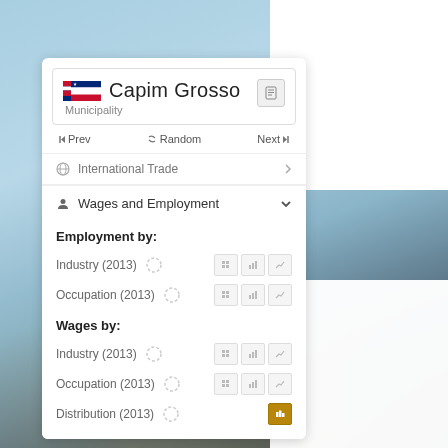Capim Grosso
Municipality
◄◄ Prev   ⇌ Random   Next ►►
International Trade
Wages and Employment
Employment by:
Industry (2013)
Occupation (2013)
Wages by:
Industry (2013)
Occupation (2013)
Distribution (2013)